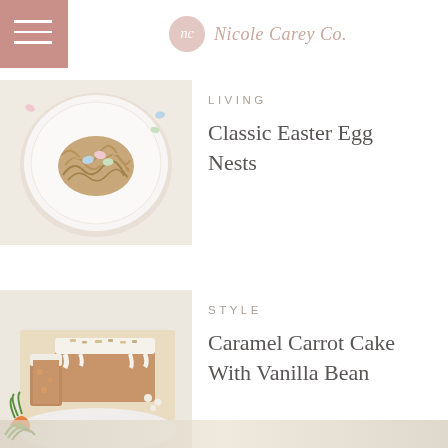Nicole Carey Co.
[Figure (photo): Top-down photo of Easter egg nests dessert on a white plate — a bird's nest made from noodles/chow mein with pastel candy eggs on top, on a white scalloped plate]
LIVING
Classic Easter Egg Nests
[Figure (photo): Photo of sliced carrot cake loaf with white cream cheese frosting and chopped toppings, served on parchment paper with a white plate; carrots and greenery visible in background]
STYLE
Caramel Carrot Cake With Vanilla Bean